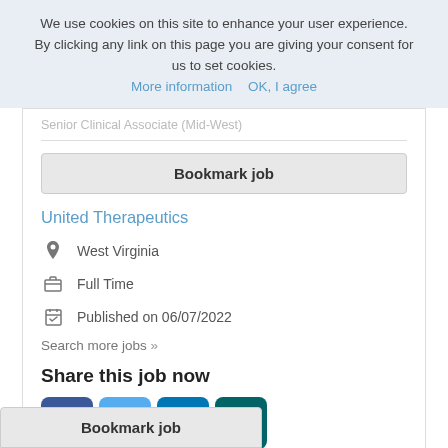We use cookies on this site to enhance your user experience. By clicking any link on this page you are giving your consent for us to set cookies. More information   OK, I agree
Senior Clinical Associate (Mid-West)
Bookmark job
United Therapeutics
West Virginia
Full Time
Published on 06/07/2022
Search more jobs »
Share this job now
[Figure (infographic): Social share buttons: Facebook (blue), Twitter (light blue), LinkedIn (dark blue), Xing (teal)]
Bookmark job